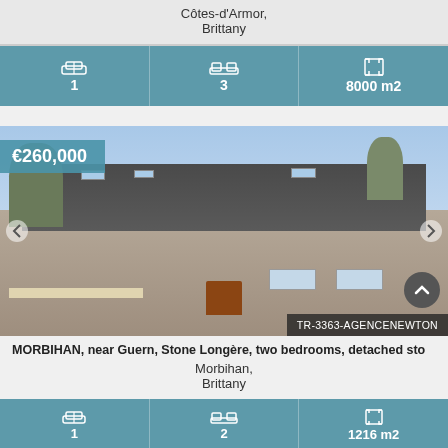Côtes-d'Armor, Brittany
[Figure (infographic): Stats bar: 1 bathroom icon, 3 bedrooms icon, 8000 m2 land icon]
[Figure (photo): Exterior photo of stone longère property in Morbihan, Brittany with price badge €260,000 and reference TR-3363-AGENCENEWTON]
MORBIHAN, near Guern, Stone Longère, two bedrooms, detached sto...
Morbihan, Brittany
[Figure (infographic): Stats bar: 1 bathroom icon, 2 bedrooms icon, 1216 m2 land icon]